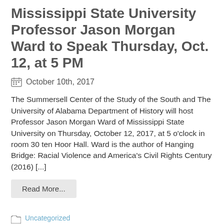Mississippi State University Professor Jason Morgan Ward to Speak Thursday, Oct. 12, at 5 PM
October 10th, 2017
The Summersell Center of the Study of the South and The University of Alabama Department of History will host Professor Jason Morgan Ward of Mississippi State University on Thursday, October 12, 2017, at 5 o'clock in room 30 ten Hoor Hall. Ward is the author of Hanging Bridge: Racial Violence and America's Civil Rights Century (2016) [...]
Read More...
Uncategorized
Giggie, Jason Morgan Ward, Jim Crow, Mississippi